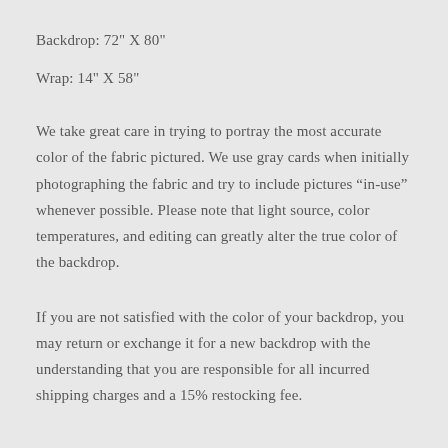Backdrop: 72" X 80"
Wrap: 14" X 58"
We take great care in trying to portray the most accurate color of the fabric pictured. We use gray cards when initially photographing the fabric and try to include pictures “in-use” whenever possible. Please note that light source, color temperatures, and editing can greatly alter the true color of the backdrop.
If you are not satisfied with the color of your backdrop, you may return or exchange it for a new backdrop with the understanding that you are responsible for all incurred shipping charges and a 15% restocking fee.